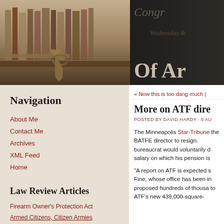[Figure (photo): Header image showing a vintage flintlock pistol in front of a bookshelf with law books on the left side (sepia toned), and a dark background with cursive Constitution text and 'Of Ar' on the right side]
Navigation
About Me
Contact Me
Archives
XML Feed
Home
Law Review Articles
Firearm Owner's Protection Act
Armed Citizens, Citizen Armies
« Now this is too dang much |
More on ATF dire
POSTED BY DAVID HARDY · 5 AU
The Minneapolis Star-Tribune the BATFE director to resign. bureaucrat would voluntarily d salary on which his pension is
"A report on ATF is expected s Fine, whose office has been in proposed hundreds of thousa to ATF's new 439,000-square-